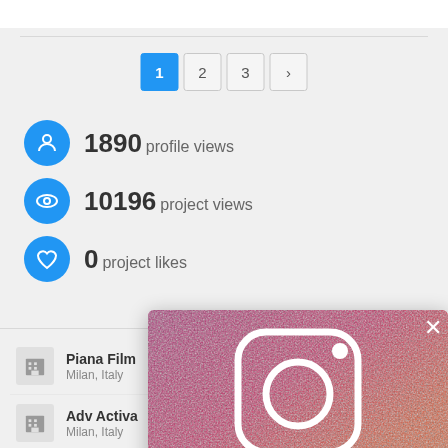[Figure (screenshot): Pagination bar with buttons 1 (active/blue), 2, 3, and next arrow]
1890 profile views
10196 project views
0 project likes
Piana Film — Milan, Italy
Adv Activa — Milan, Italy
Fastweb — Milan, Italy
Lowe Pirella Fro... — Milan, Italy
[Figure (screenshot): Instagram follow overlay with gradient background (purple to orange), Instagram camera logo, close X button, and text 'Follow Adeevee on Instagram']